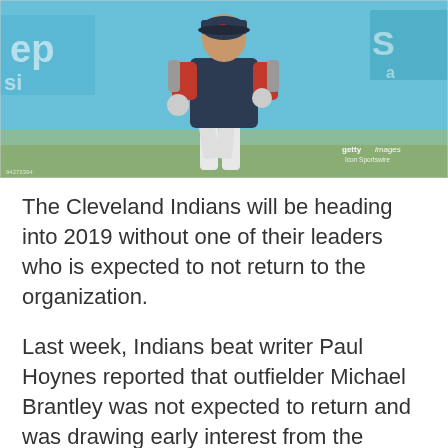[Figure (photo): A Cleveland Indians baseball player wearing a dark navy jersey with a red 'C' cap, running on the field. The background shows a baseball stadium with blue advertising boards. Getty Images / Icon Sportswire watermark visible. Photo number 94273394.]
The Cleveland Indians will be heading into 2019 without one of their leaders who is expected to not return to the organization.
Last week, Indians beat writer Paul Hoynes reported that outfielder Michael Brantley was not expected to return and was drawing early interest from the Philadelphia Phillies, Atlanta